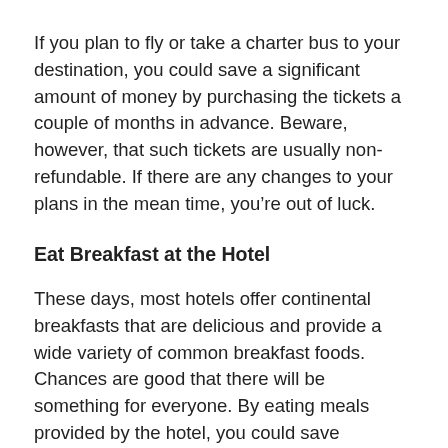If you plan to fly or take a charter bus to your destination, you could save a significant amount of money by purchasing the tickets a couple of months in advance. Beware, however, that such tickets are usually non-refundable. If there are any changes to your plans in the mean time, you're out of luck.
Eat Breakfast at the Hotel
These days, most hotels offer continental breakfasts that are delicious and provide a wide variety of common breakfast foods. Chances are good that there will be something for everyone. By eating meals provided by the hotel, you could save hundreds of dollars over the course of your trip.